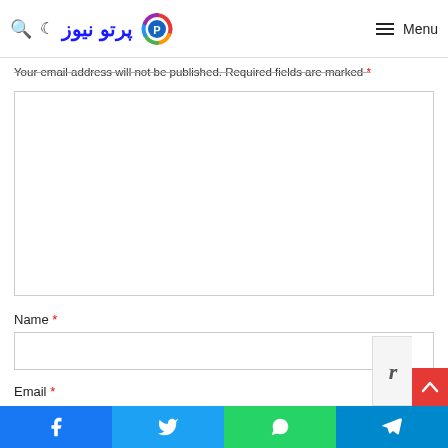پرتو نیوز — Menu
Your email address will not be published. Required fields are marked *
[Figure (screenshot): Large empty comment textarea input box with border]
Name *
[Figure (screenshot): Name text input field with border]
Email *
[Figure (screenshot): Social share bar with Facebook, Twitter, WhatsApp, Telegram buttons]